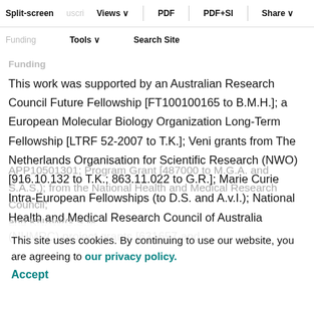Split-screen | Views | PDF | PDF+SI | Share
Funding | Tools | Search Site
Funding
This work was supported by an Australian Research Council Future Fellowship [FT100100165 to B.M.H.]; a European Molecular Biology Organization Long-Term Fellowship [LTRF 52-2007 to T.K.]; Veni grants from The Netherlands Organisation for Scientific Research (NWO) [916.10.132 to T.K.; 863.11.022 to G.R.]; Marie Curie Intra-European Fellowships (to D.S. and A.v.I.); National Health and Medical Research Council of Australia (NHMRC) project grants [631657 and APP10501301; Program Grant [487000 to M.G.A. and S.A.S.); from the National Health and Medical Research Council; and KNAW/G.S.M.
This site uses cookies. By continuing to use our website, you are agreeing to our privacy policy. Accept